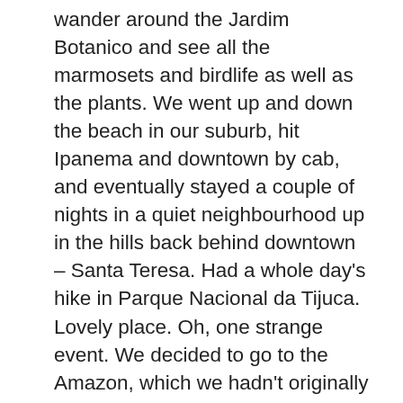wander around the Jardim Botanico and see all the marmosets and birdlife as well as the plants. We went up and down the beach in our suburb, hit Ipanema and downtown by cab, and eventually stayed a couple of nights in a quiet neighbourhood up in the hills back behind downtown – Santa Teresa. Had a whole day's hike in Parque Nacional da Tijuca. Lovely place. Oh, one strange event. We decided to go to the Amazon, which we hadn't originally planned to do, and had to get a prescription for some malaria prophylaxis in Rio. The hotel found an English speaking doctor who for a stiff appointment fee gave us a prescription for Daraprim. We used about 6 pills from a phial with about 50 in it and at the end, I took the rest home. One night much later I was watching the telly when a story came on about Martin Shkreli jacking up the price of Daraprim and making it worth a fortune. I checked our long unused pill bottle and it was suddenly worth about $70,000. Except that the